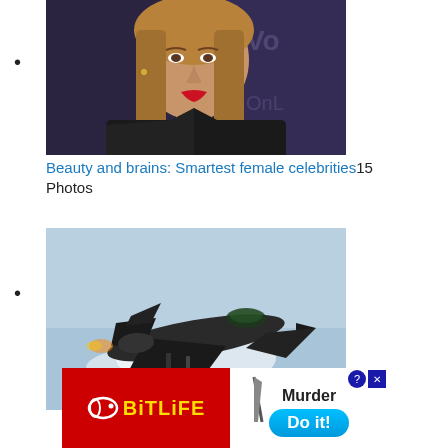•
[Figure (photo): Portrait photo of a woman with long blonde hair, red lipstick, wearing a dark blazer, at an event with branding backdrop]
Beauty and brains: Smartest female celebrities 15 Photos
•
[Figure (photo): Military fighter jet (F-15) flying at high speed against a blue sky, with vapor/condensation clouds]
[Figure (screenshot): BitLife mobile game advertisement banner with red background, BitLife logo in yellow, and 'Murder - Do it!' call to action button in blue]